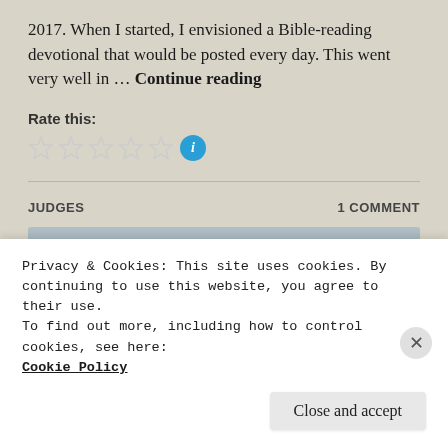2017. When I started, I envisioned a Bible-reading devotional that would be posted every day. This went very well in … Continue reading
Rate this:
[Figure (other): Five empty star rating icons followed by a blue circular info icon]
JUDGES
1 COMMENT
[Figure (photo): Grayish-blue image area with a faint watermark or logo on the right side]
Privacy & Cookies: This site uses cookies. By continuing to use this website, you agree to their use.
To find out more, including how to control cookies, see here:
Cookie Policy
Close and accept